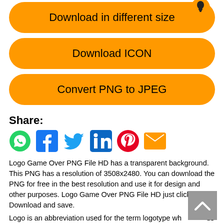[Figure (other): Orange rounded button labeled 'Download in different size' with a lightbulb icon]
[Figure (other): Orange rounded button labeled 'Download ICON']
[Figure (other): Orange rounded button labeled 'Convert PNG to JPEG']
Share:
[Figure (other): Social sharing icons: WhatsApp, Facebook, Twitter, LinkedIn, Pinterest, Email]
Logo Game Over PNG File HD has a transparent background. This PNG has a resolution of 3508x2480. You can download the PNG for free in the best resolution and use it for design and other purposes. Logo Game Over PNG File HD just click on Download and save.
Logo is an abbreviation used for the term logotype which has its origin in the Greek language from a Greek word. It is a